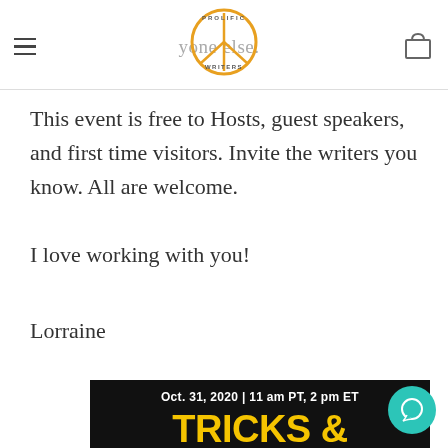yone else. [Prolific Writers logo] [cart icon]
This event is free to Hosts, guest speakers, and first time visitors. Invite the writers you know. All are welcome.
I love working with you!
Lorraine
[Figure (illustration): Black background event poster reading 'Oct. 31, 2020 | 11 am PT, 2 pm ET' and 'TRICKS & TREATS FOR WRITERS' in large bold yellow text, with pencil/candy illustrations at bottom]